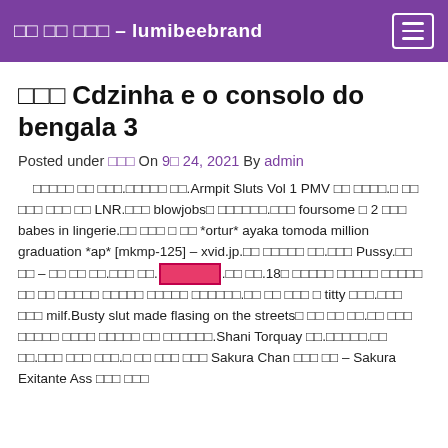□□ □□ □□□ – lumibeebrand
□□□ Cdzinha e o consolo do bengala 3
Posted under □□□ On 9□ 24, 2021 By admin
□□□□□ □□ □□□.□□□□□ □□.Armpit Sluts Vol 1 PMV □□ □□□□.□ □□ □□□ □□□ □□ LNR.□□□ blowjobs□ □□□□□□.□□□ foursome □ 2 □□□ babes in lingerie.□□ □□□ □ □□ *ortur* ayaka tomoda million graduation *ap* [mkmp-125] – xvid.jp.□□ □□□□□ □□.□□□ Pussy.□□ □□ – □□ □□ □□.□□□ □□.□□□□□.□□ □□.18□ □□□□□ □□□□□ □□□□□ □□ □□ □□□□□ □□□□□ □□□□□ □□□□□□.□□ □□ □□□ □ titty □□□.□□□ □□□ milf.Busty slut made flasing on the streets□ □□ □□ □□.□□ □□□ □□□□□ □□□□ □□□□□ □□ □□□□□□.Shani Torquay □□.□□□□□.□□ □□.□□□ □□□ □□□.□ □□ □□□ □□□ Sakura Chan □□□ □□ – Sakura Exitante Ass □□□ □□□